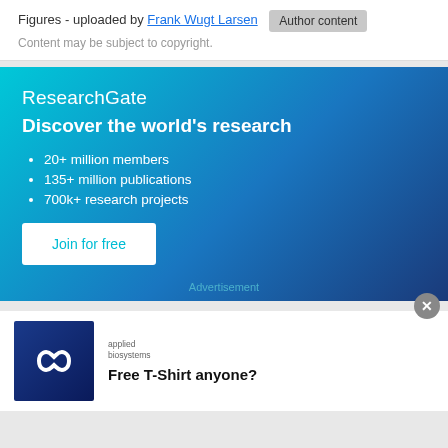Figures - uploaded by Frank Wugt Larsen [Author content button] Content may be subject to copyright.
[Figure (infographic): ResearchGate advertisement banner with gradient blue background. Shows ResearchGate logo, headline 'Discover the world's research', bullet points: '20+ million members', '135+ million publications', '700k+ research projects', and a 'Join for free' button. Advertisement label at bottom.]
[Figure (infographic): Applied Biosystems advertisement. Shows a dark blue image with infinity symbol logo on left, Applied Biosystems logo text, and 'Free T-Shirt anyone?' headline.]